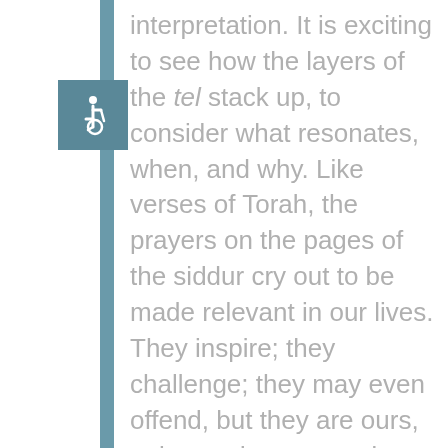[Figure (illustration): Wheelchair accessibility icon in white on a teal/blue-gray square background, positioned on the left sidebar]
interpretation.  It is exciting to see how the layers of the tel stack up, to consider what resonates, when, and why.  Like verses of Torah, the prayers on the pages of the siddur cry out to be made relevant in our lives.  They inspire; they challenge; they may even offend, but they are ours, to be made more and more ours.

And then, of course, there are the many worthy prayers that are not found on the pages of any siddur.  These private, often desperate prayers go...